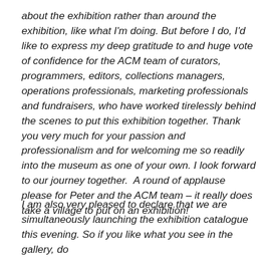about the exhibition rather than around the exhibition, like what I'm doing. But before I do, I'd like to express my deep gratitude to and huge vote of confidence for the ACM team of curators, programmers, editors, collections managers, operations professionals, marketing professionals and fundraisers, who have worked tirelessly behind the scenes to put this exhibition together. Thank you very much for your passion and professionalism and for welcoming me so readily into the museum as one of your own. I look forward to our journey together.  A round of applause please for Peter and the ACM team – it really does take a village to put on an exhibition!
I am also very pleased to declare that we are simultaneously launching the exhibition catalogue this evening. So if you like what you see in the gallery, do